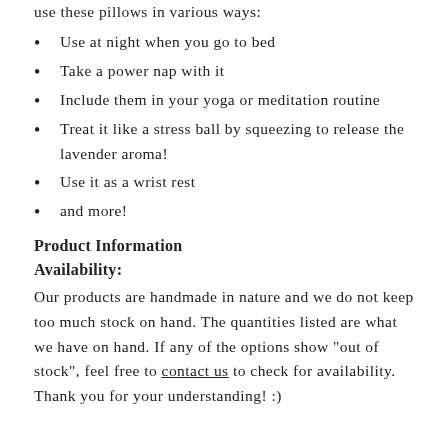use these pillows in various ways:
Use at night when you go to bed
Take a power nap with it
Include them in your yoga or meditation routine
Treat it like a stress ball by squeezing to release the lavender aroma!
Use it as a wrist rest
and more!
Product Information
Availability:
Our products are handmade in nature and we do not keep too much stock on hand. The quantities listed are what we have on hand. If any of the options show "out of stock", feel free to contact us to check for availability. Thank you for your understanding! :)